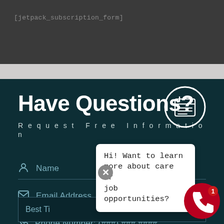[jetpack_subscription_form]
Have Questions?
Request Free Information
[Figure (illustration): Calendar/schedule icon inside a white circle outline]
Name
Email Address
Phone Number: (###) ### ####
Best Ti...
Hi! Want to learn more about care or job opportunities?